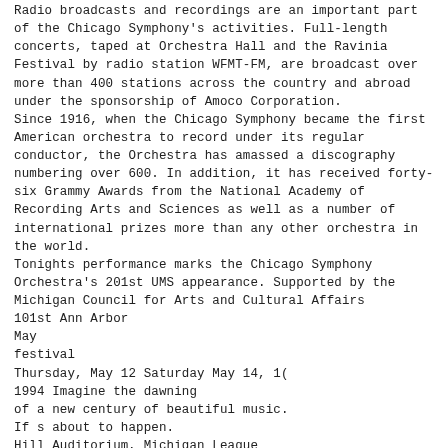Radio broadcasts and recordings are an important part of the Chicago Symphony's activities. Full-length concerts, taped at Orchestra Hall and the Ravinia Festival by radio station WFMT-FM, are broadcast over more than 400 stations across the country and abroad under the sponsorship of Amoco Corporation.
Since 1916, when the Chicago Symphony became the first American orchestra to record under its regular conductor, the Orchestra has amassed a discography numbering over 600. In addition, it has received forty-six Grammy Awards from the National Academy of Recording Arts and Sciences as well as a number of international prizes more than any other orchestra in the world.
Tonights performance marks the Chicago Symphony Orchestra's 201st UMS appearance. Supported by the Michigan Council for Arts and Cultural Affairs
101st Ann Arbor
May
festival
Thursday, May 12 Saturday May 14, 1(
1994 Imagine the dawning
of a new century of beautiful music.
If s about to happen.
Hill Auditorium, Michigan League